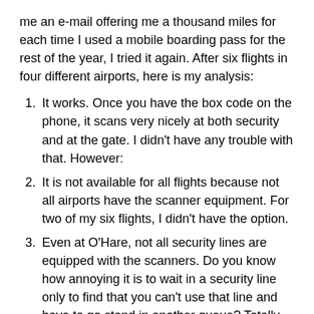me an e-mail offering me a thousand miles for each time I used a mobile boarding pass for the rest of the year, I tried it again.  After six flights in four different airports, here is my analysis:
1. It works.  Once you have the box code on the phone, it scans very nicely at both security and at the gate.  I didn't have any trouble with that.  However:
2. It is not available for all flights because not all airports have the scanner equipment.   For two of my six flights, I didn't have the option.
3. Even at O'Hare, not all security lines are equipped with the scanners.  Do you know how annoying it is to wait in a security line only to find that you can't use that line and have to go stand in another queue?  Totally unacceptable.
4. For one flight, I checked in on the phone and received